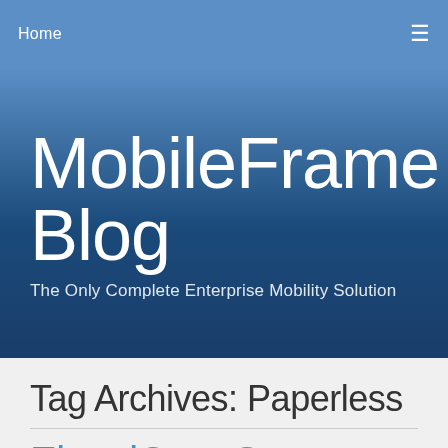Home  ☰
MobileFrame Blog
The Only Complete Enterprise Mobility Solution
Tag Archives: Paperless
ElectriCom Goes